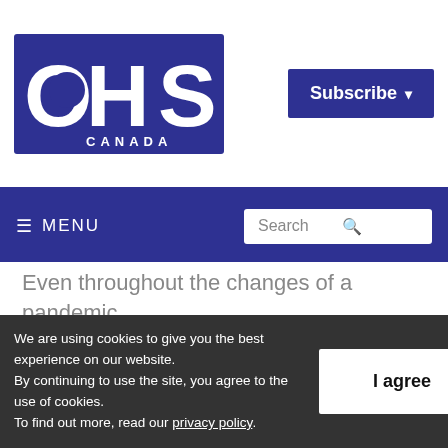[Figure (logo): OHS Canada logo — large bold white letters OHS on dark navy blue background with CANADA in small caps below]
Subscribe ▾
☰ MENU   Search 🔍
Even throughout the changes of a pandemic, athletic and fashion trends continue to transform the direction of safety footwear.
“Our shoe walls look nothing like they would have a decade ago,” said Michael Hampton,
We are using cookies to give you the best experience on our website.
By continuing to use the site, you agree to the use of cookies.
To find out more, read our privacy policy.
I agree